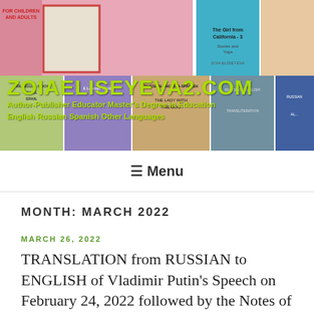[Figure (photo): Banner image collage of book covers from zoiaeliseyeva2.com, showing multiple colorful book covers arranged in a grid with site title and subtitle overlaid]
ZOIAELISEYEVA2.COM
Author-Publisher Educator Master's Degree in Education
English Russian Spanish Other Languages
≡ Menu
MONTH: MARCH 2022
MARCH 26, 2022
TRANSLATION from RUSSIAN to ENGLISH of Vladimir Putin's Speech on February 24, 2022 followed by the Notes of Translator